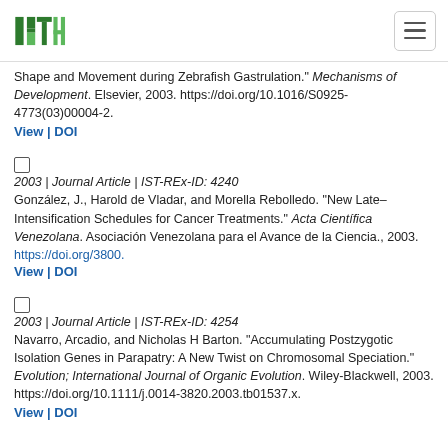ISTA logo and navigation
Shape and Movement during Zebrafish Gastrulation." Mechanisms of Development. Elsevier, 2003. https://doi.org/10.1016/S0925-4773(03)00004-2.
View | DOI
2003 | Journal Article | IST-REx-ID: 4240
González, J., Harold de Vladar, and Morella Rebolledo. “New Late–Intensification Schedules for Cancer Treatments.” Acta Científica Venezolana. Asociación Venezolana para el Avance de la Ciencia., 2003. https://doi.org/3800.
View | DOI
2003 | Journal Article | IST-REx-ID: 4254
Navarro, Arcadio, and Nicholas H Barton. “Accumulating Postzygotic Isolation Genes in Parapatry: A New Twist on Chromosomal Speciation.” Evolution; International Journal of Organic Evolution. Wiley-Blackwell, 2003. https://doi.org/10.1111/j.0014-3820.2003.tb01537.x.
View | DOI